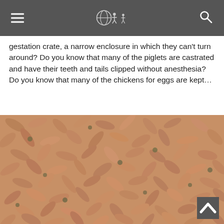[Navigation header with hamburger menu, logo, and search icon]
gestation crate, a narrow enclosure in which they can't turn around? Do you know that many of the piglets are castrated and have their teeth and tails clipped without anesthesia? Do you know that many of the chickens for eggs are kept…
[Figure (photo): Close-up photograph of a large mass of small shrimp, packed tightly together, pinkish-brown in color with visible tails and bodies curled.]